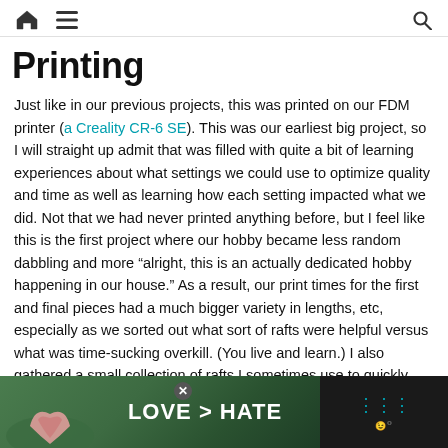Home | Menu | Search
Printing
Just like in our previous projects, this was printed on our FDM printer (a Creality CR-6 SE). This was our earliest big project, so I will straight up admit that was filled with quite a bit of learning experiences about what settings we could use to optimize quality and time as well as learning how each setting impacted what we did. Not that we had never printed anything before, but I feel like this is the first project where our hobby became less random dabbling and more “alright, this is an actually dedicated hobby happening in our house.” As a result, our print times for the first and final pieces had a much bigger variety in lengths, etc, especially as we sorted out what sort of rafts were helpful versus what was time-sucking overkill. (You live and learn.) I also gathered a small collection of rafts I sometimes use to quickly test out paint colors and compare shades for what we need...
[Figure (other): Ad banner at bottom: LOVE > HATE advertisement with hands forming heart shape, close button, and logo]